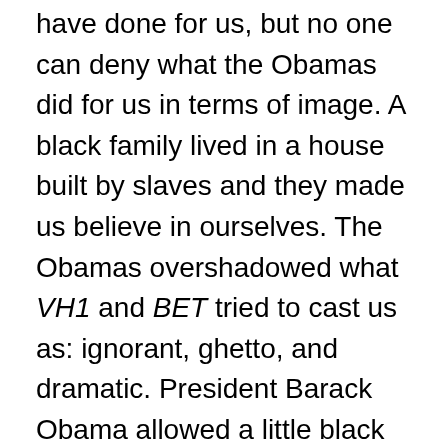have done for us, but no one can deny what the Obamas did for us in terms of image. A black family lived in a house built by slaves and they made us believe in ourselves. The Obamas overshadowed what VH1 and BET tried to cast us as: ignorant, ghetto, and dramatic. President Barack Obama allowed a little black boy to touch his head and feel his hair; this image spoke to me and millions of boys who saw that they could be more than a rapper or basketball player. They could be President.
So, as we say goodbye to you Obama, we will